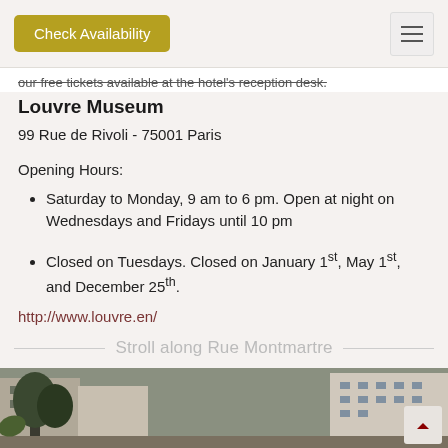Check Availability
our free tickets available at the hotel's reception desk.
Louvre Museum
99 Rue de Rivoli - 75001 Paris
Opening Hours:
Saturday to Monday, 9 am to 6 pm. Open at night on Wednesdays and Fridays until 10 pm
Closed on Tuesdays. Closed on January 1st, May 1st, and December 25th.
http://www.louvre.en/
Stroll along Rue Montmartre
[Figure (photo): Street view of Rue Montmartre in Paris showing trees and Haussmann-style buildings]